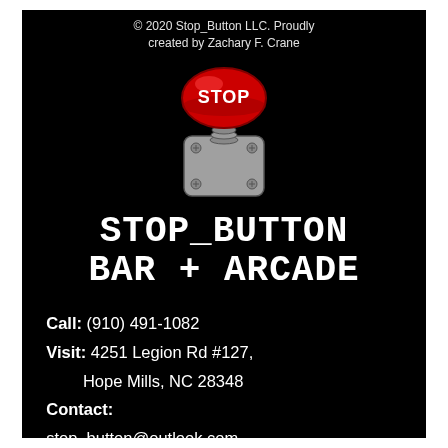© 2020 Stop_Button LLC. Proudly created by Zachary F. Crane
[Figure (logo): Illustration of a red stop button / arcade button on a grey metal plate, with the word STOP written on the red dome.]
STOP_BUTTON BAR + ARCADE
Call: (910) 491-1082
Visit: 4251 Legion Rd #127, Hope Mills, NC 28348
Contact:
stop_button@outlook.com